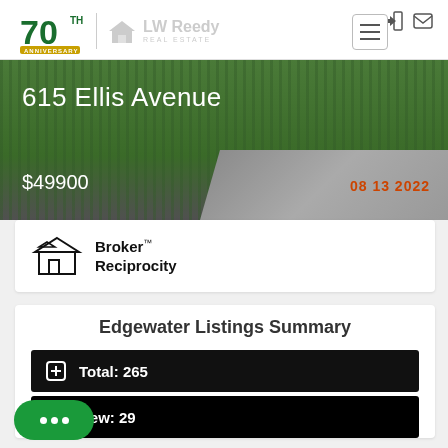[Figure (logo): LW Reedy Real Estate 70th Anniversary logo with house icon]
[Figure (photo): Property photo banner showing 615 Ellis Avenue, a residential property with grass and sidewalk, dated 08 13 2022]
615 Ellis Avenue
$49900
08 13 2022
[Figure (logo): Broker Reciprocity logo with house icon]
Edgewater Listings Summary
Total: 265
New: 29